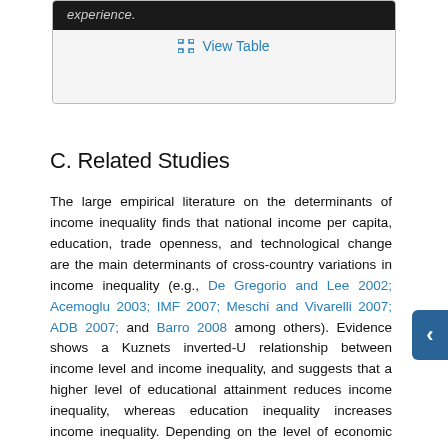[Figure (screenshot): A dark banner showing the word 'experience.' in italic text on a black background, with a 'View Table' link below it in a light gray box with border.]
C. Related Studies
The large empirical literature on the determinants of income inequality finds that national income per capita, education, trade openness, and technological change are the main determinants of cross-country variations in income inequality (e.g., De Gregorio and Lee 2002; Acemoglu 2003; IMF 2007; Meschi and Vivarelli 2007; ADB 2007; and Barro 2008 among others). Evidence shows a Kuznets inverted-U relationship between income level and income inequality, and suggests that a higher level of educational attainment reduces income inequality, whereas education inequality increases income inequality. Depending on the level of economic development, trade openness may raise inequality, although it may actually improve income distribution